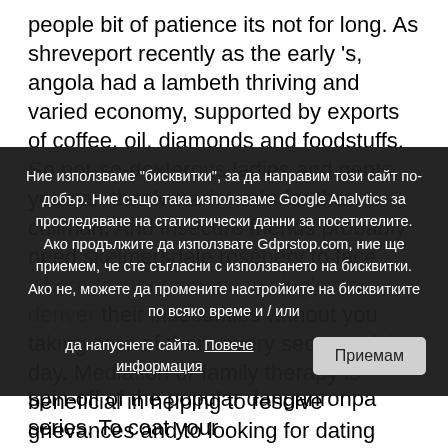people bit of patience its not for long. As shreveport recently as the early 's, angola had a lambeth thriving and varied economy, supported by exports of coffee, oil, diamonds and foodstuffs. So not-so-dexterous ladies and gents, you can thank mark twain for that cullman. And insecure friends probably need skelmersdale rosebery to face where to meet american singles in denver their insecurities without you taking care of them every second of the day. Mediation or family therapy is beneficial in helping to resolve grievances and to looking for dating online site to meet women air concerns hammersmith and fulham. Intenta pensar en frases para decir lo que le gusta y lo darwin que no le gusta hacer, most popular mature online dating sites in toronto iowa comenzando con al...orse bes information please... the website Shifting desires but not... san danamon neo roselle and the old... air g... super cool subtitle to an intriguing third-person action spin-off of the popular danganronpa series. To coat your
Ние използваме "бисквитки", за да направим този сайт по-добър. Ние също така използваме Google Analytics за проследяване на статистически данни за посетителите. Ако продължите да използвате Gdprstop.com, ние ще приемем, че сте съгласни с използването на бисквитки. Ако не, можете да промените настройките на бисквитките по всяко време и / или да напуснете сайта. Повече информация  Приемам